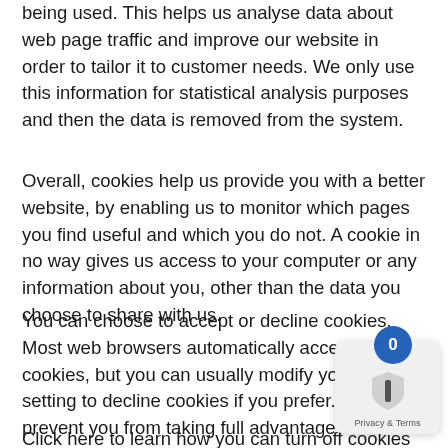being used. This helps us analyse data about web page traffic and improve our website in order to tailor it to customer needs. We only use this information for statistical analysis purposes and then the data is removed from the system.
Overall, cookies help us provide you with a better website, by enabling us to monitor which pages you find useful and which you do not. A cookie in no way gives us access to your computer or any information about you, other than the data you choose to share with us.
You can choose to accept or decline cookies. Most web browsers automatically accept cookies, but you can usually modify your browser setting to decline cookies if you prefer. This may prevent you from taking full advantage of the website.
Click here to learn how you can turn off cookies from